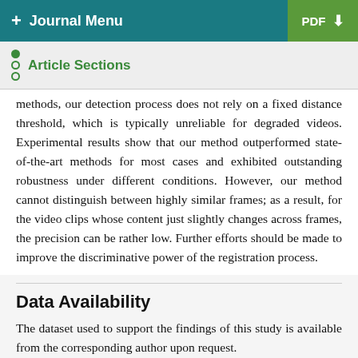+ Journal Menu | PDF
Article Sections
methods, our detection process does not rely on a fixed distance threshold, which is typically unreliable for degraded videos. Experimental results show that our method outperformed state-of-the-art methods for most cases and exhibited outstanding robustness under different conditions. However, our method cannot distinguish between highly similar frames; as a result, for the video clips whose content just slightly changes across frames, the precision can be rather low. Further efforts should be made to improve the discriminative power of the registration process.
Data Availability
The dataset used to support the findings of this study is available from the corresponding author upon request.